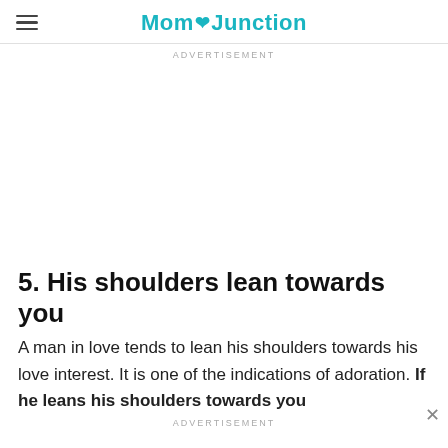MomJunction
ADVERTISEMENT
5. His shoulders lean towards you
A man in love tends to lean his shoulders towards his love interest. It is one of the indications of adoration. If he leans his shoulders towards you
ADVERTISEMENT